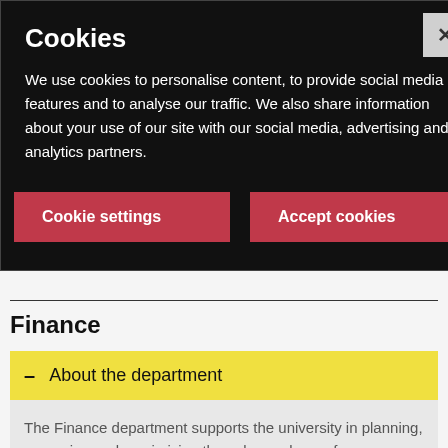Cookies
We use cookies to personalise content, to provide social media features and to analyse our traffic. We also share information about your use of our site with our social media, advertising and analytics partners.
Cookie settings
Accept cookies
Finance
About the department
The Finance department supports the university in planning, managing and maximising the value and use of